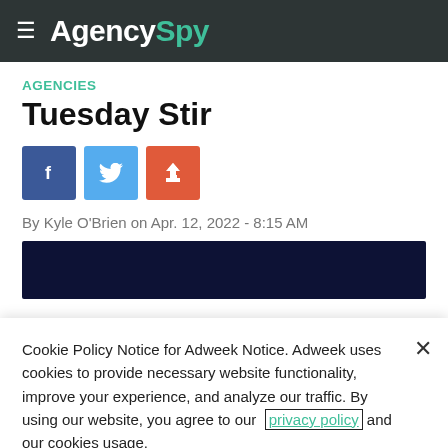AgencySpy
AGENCIES
Tuesday Stir
[Figure (other): Social share buttons: Facebook (blue), Twitter (light blue), Share (red/orange)]
By Kyle O'Brien on Apr. 12, 2022 - 8:15 AM
[Figure (photo): Dark navy image placeholder for article hero image]
Cookie Policy Notice for Adweek Notice. Adweek uses cookies to provide necessary website functionality, improve your experience, and analyze our traffic. By using our website, you agree to our privacy policy and our cookies usage.
Cookies Settings
Accept All Cookies